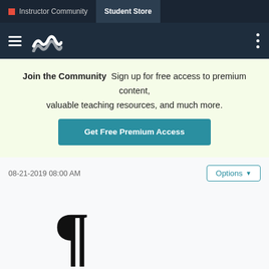Instructor Community | Student Store
[Figure (screenshot): Secondary navigation bar with hamburger menu icon, wave/logo icon, and three-dot menu on right]
Join the Community  Sign up for free access to premium content, valuable teaching resources, and much more.
Get Free Premium Access
08-21-2019 08:00 AM
Options
[Figure (illustration): Large pilcrow / paragraph symbol (¶) in black]